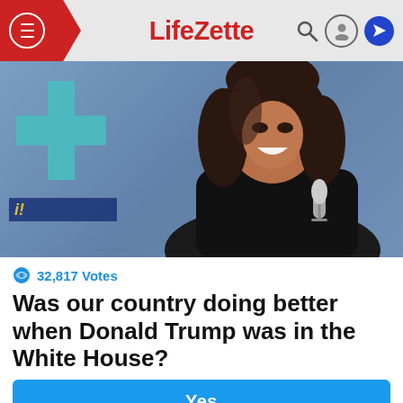LifeZette
[Figure (photo): A smiling woman with shoulder-length dark hair wearing a black blazer, holding a microphone, photographed in front of a blue/purple background with teal geometric shapes.]
32,817 Votes
Was our country doing better when Donald Trump was in the White House?
Yes